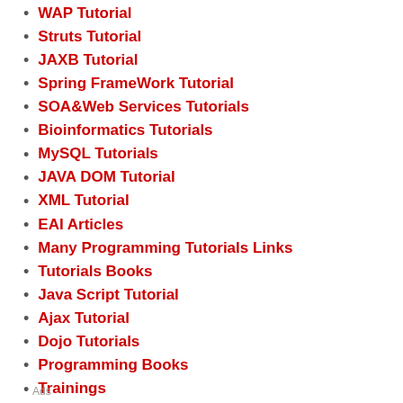WAP Tutorial
Struts Tutorial
JAXB Tutorial
Spring FrameWork Tutorial
SOA&Web Services Tutorials
Bioinformatics Tutorials
MySQL Tutorials
JAVA DOM Tutorial
XML Tutorial
EAI Articles
Many Programming Tutorials Links
Tutorials Books
Java Script Tutorial
Ajax Tutorial
Dojo Tutorials
Programming Books
Trainings
Flex
Ant
RDF
Ads